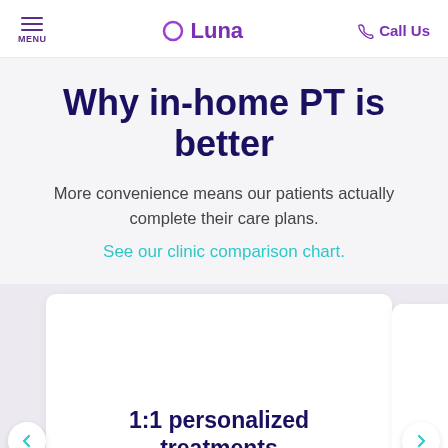MENU | Luna | Call Us
Why in-home PT is better
More convenience means our patients actually complete their care plans.
See our clinic comparison chart.
1:1 personalized treatments